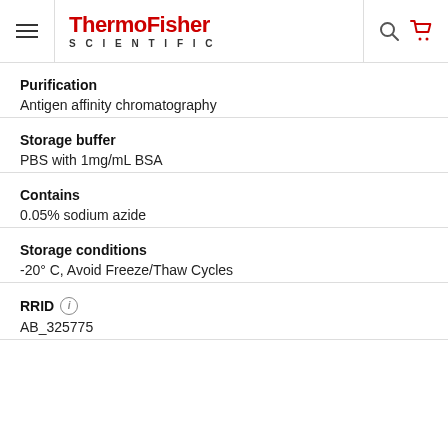ThermoFisher SCIENTIFIC
Purification
Antigen affinity chromatography
Storage buffer
PBS with 1mg/mL BSA
Contains
0.05% sodium azide
Storage conditions
-20° C, Avoid Freeze/Thaw Cycles
RRID
AB_325775